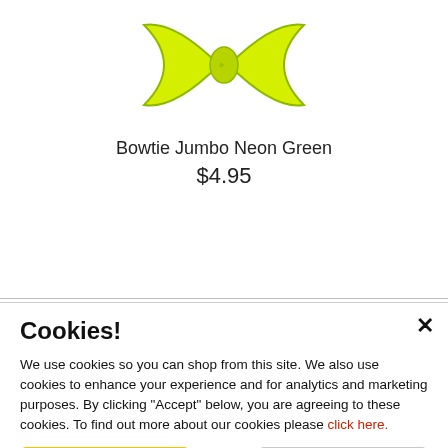[Figure (photo): Neon green / yellow-green bowtie hair accessory on white background, partially cropped at top]
Bowtie Jumbo Neon Green
$4.95
Cookies!
We use cookies so you can shop from this site. We also use cookies to enhance your experience and for analytics and marketing purposes. By clicking "Accept" below, you are agreeing to these cookies. To find out more about our cookies please click here.